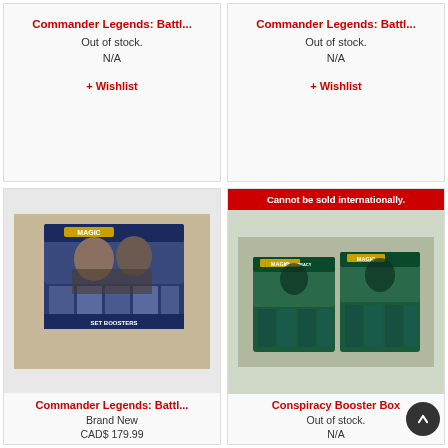Commander Legends: Battl...
Out of stock.
N/A
+ Wishlist
Commander Legends: Battl...
Out of stock.
N/A
+ Wishlist
[Figure (photo): Commander Legends: Battle for Baldur's Gate Set Boosters box product image]
Commander Legends: Battl...
Brand New
CAD$ 179.99
Cannot be sold internationally.
[Figure (photo): Magic Conspiracy Booster Box product image]
Conspiracy Booster Box
Out of stock.
N/A